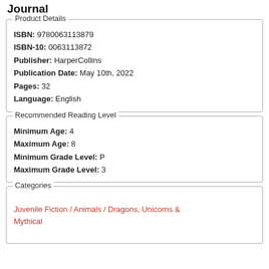Journal
Product Details
ISBN: 9780063113879
ISBN-10: 0063113872
Publisher: HarperCollins
Publication Date: May 10th, 2022
Pages: 32
Language: English
Recommended Reading Level
Minimum Age: 4
Maximum Age: 8
Minimum Grade Level: P
Maximum Grade Level: 3
Categories
Juvenile Fiction / Animals / Dragons, Unicorns & Mythical